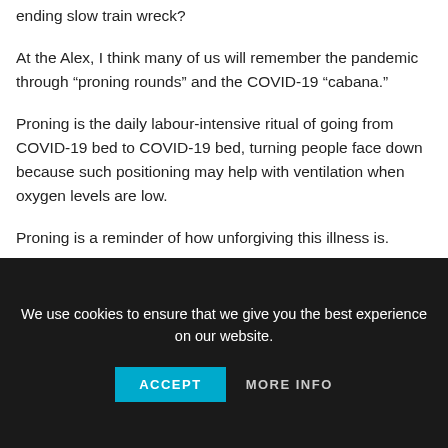ending slow train wreck?
At the Alex, I think many of us will remember the pandemic through “proning rounds” and the COVID-19 “cabana.”
Proning is the daily labour-intensive ritual of going from COVID-19 bed to COVID-19 bed, turning people face down because such positioning may help with ventilation when oxygen levels are low.
Proning is a reminder of how unforgiving this illness is.
The virus doesn’t allow victims to face it head on but rather
We use cookies to ensure that we give you the best experience on our website.